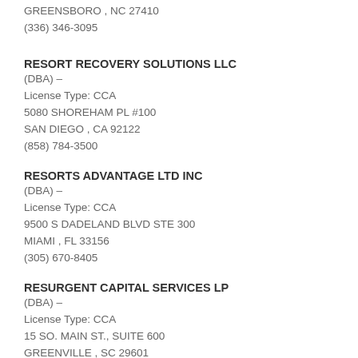GREENSBORO , NC 27410
(336) 346-3095
RESORT RECOVERY SOLUTIONS LLC
(DBA) –
License Type: CCA
5080 SHOREHAM PL #100
SAN DIEGO , CA 92122
(858) 784-3500
RESORTS ADVANTAGE LTD INC
(DBA) –
License Type: CCA
9500 S DADELAND BLVD STE 300
MIAMI , FL 33156
(305) 670-8405
RESURGENT CAPITAL SERVICES LP
(DBA) –
License Type: CCA
15 SO. MAIN ST., SUITE 600
GREENVILLE , SC 29601
(864) 235-7326